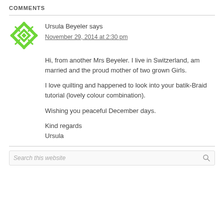COMMENTS
Ursula Beyeler says
November 29, 2014 at 2:30 pm
Hi, from another Mrs Beyeler. I live in Switzerland, am married and the proud mother of two grown Girls.

I love quilting and happened to look into your batik-Braid tutorial (lovely colour combination).

Wishing you peaceful December days.

Kind regards
Ursula